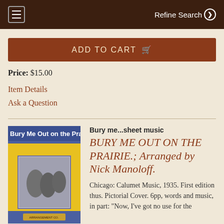Refine Search
ADD TO CART
Price: $15.00
Item Details
Ask a Question
[Figure (photo): Sheet music cover: Bury Me Out on the Prairie, yellow and blue cover with pictorial inset]
Bury me...sheet music
BURY ME OUT ON THE PRAIRIE.; Arranged by Nick Manoloff.
Chicago: Calumet Music, 1935. First edition thus. Pictorial Cover. 6pp, words and music, in part: "Now, I've got no use for the